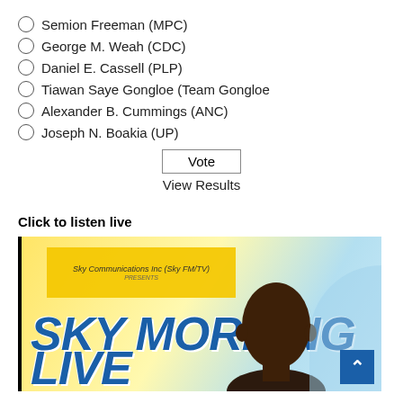Semion Freeman (MPC)
George M. Weah (CDC)
Daniel E. Cassell (PLP)
Tiawan Saye Gongloe (Team Gongloe
Alexander B. Cummings (ANC)
Joseph N. Boakia (UP)
Vote
View Results
Click to listen live
[Figure (photo): Sky Morning Live banner with Sky Communications Inc (Sky FM/TV) presents text, large blue SKY MORNING LIVE text, a person's headshot on the right, and a blue scroll-to-top button]